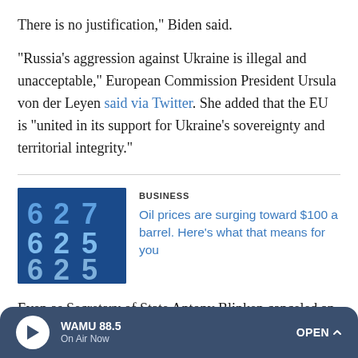There is no justification," Biden said.
"Russia's aggression against Ukraine is illegal and unacceptable," European Commission President Ursula von der Leyen said via Twitter. She added that the EU is "united in its support for Ukraine's sovereignty and territorial integrity."
BUSINESS
[Figure (photo): Blue digital display showing numbers, resembling a gas pump price display]
Oil prices are surging toward $100 a barrel. Here's what that means for you
Even as Secretary of State Antony Blinken canceled an upcoming meeting with Russian foreign minister Sergei
WAMU 88.5 | On Air Now | OPEN